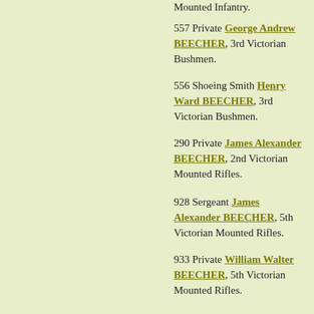Mounted Infantry.
557 Private George Andrew BEECHER, 3rd Victorian Bushmen.
556 Shoeing Smith Henry Ward BEECHER, 3rd Victorian Bushmen.
290 Private James Alexander BEECHER, 2nd Victorian Mounted Rifles.
928 Sergeant James Alexander BEECHER, 5th Victorian Mounted Rifles.
933 Private William Walter BEECHER, 5th Victorian Mounted Rifles.
940 Trooper HenryC BEECHING, NSW Lancers.
32 Private AN BEECKEN, 1st South Australian Mounted Rifles.
121 Private William BEED, 5th Queensland Imperial Bushmen.